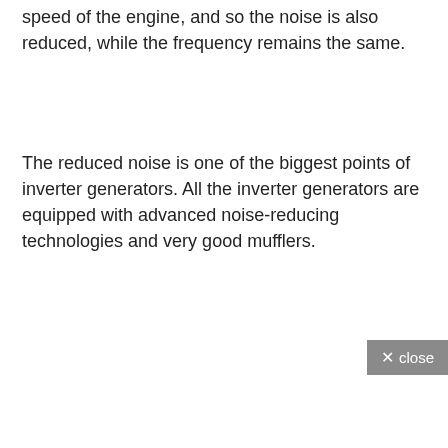speed of the engine, and so the noise is also reduced, while the frequency remains the same.
The reduced noise is one of the biggest points of inverter generators. All the inverter generators are equipped with advanced noise-reducing technologies and very good mufflers.